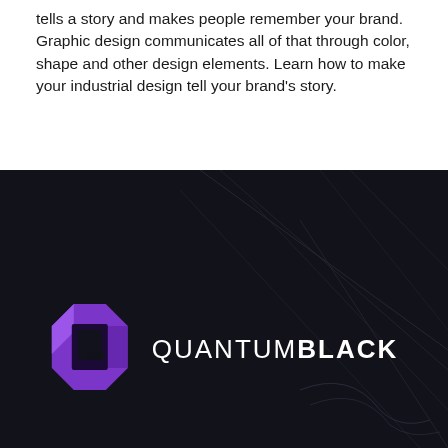tells a story and makes people remember your brand. Graphic design communicates all of that through color, shape and other design elements. Learn how to make your industrial design tell your brand's story.
[Figure (logo): QuantumBlack logo on a dark navy/black background with subtle geometric line pattern. The logo features a purple octagonal icon with a stylized Q shape and the text 'QUANTUMBLACK' in white, with QUANTUM in regular weight and BLACK in bold.]